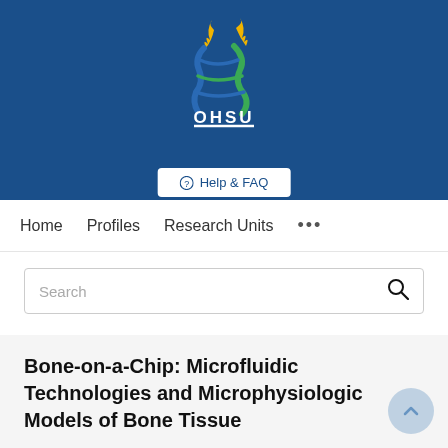[Figure (logo): OHSU (Oregon Health & Science University) logo: a stylized DNA helix with blue, green, and gold flame/torch design, with the text OHSU beneath and a white underline, on a dark blue background]
Help & FAQ
Home   Profiles   Research Units   ...
Search
Bone-on-a-Chip: Microfluidic Technologies and Microphysiologic Models of Bone Tissue